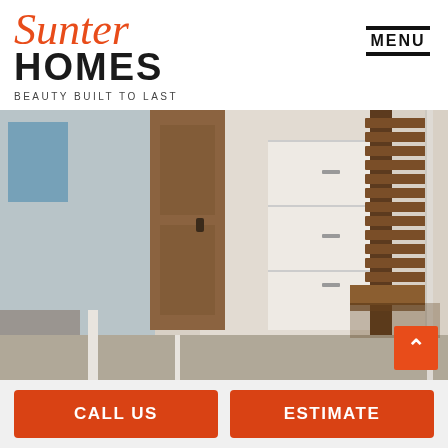[Figure (logo): Sunter Homes logo with script 'Sunter' in orange-red, bold 'HOMES' in black, and tagline 'BEAUTY BUILT TO LAST']
MENU
[Figure (photo): Interior home photo showing a hallway/entryway with wooden staircase railing on right side, white built-in cabinetry in background, carpet flooring, and blue wall art on left]
CALL US
ESTIMATE